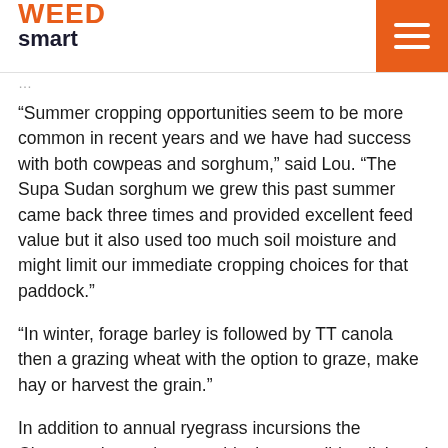WEED smart
“Summer cropping opportunities seem to be more common in recent years and we have had success with both cowpeas and sorghum,” said Lou. “The Supa Sudan sorghum we grew this past summer came back three times and provided excellent feed value but it also used too much soil moisture and might limit our immediate cropping choices for that paddock.”
“In winter, forage barley is followed by TT canola then a grazing wheat with the option to graze, make hay or harvest the grain.”
In addition to annual ryegrass incursions the Clemsons have also seen black oats, wild radish and brome grass populations cleaned up through this combination of grazing and cropping.